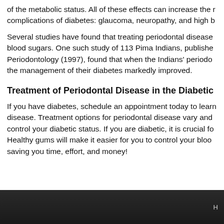of the metabolic status. All of these effects can increase the risk of complications of diabetes: glaucoma, neuropathy, and high b
Several studies have found that treating periodontal disease can improve blood sugars. One such study of 113 Pima Indians, published in Periodontology (1997), found that when the Indians' periodon... the management of their diabetes markedly improved.
Treatment of Periodontal Disease in the Diabetic
If you have diabetes, schedule an appointment today to learn about periodontal disease. Treatment options for periodontal disease vary and control your diabetic status. If you are diabetic, it is crucial fo... Healthy gums will make it easier for you to control your blood... saving you time, effort, and money!
H